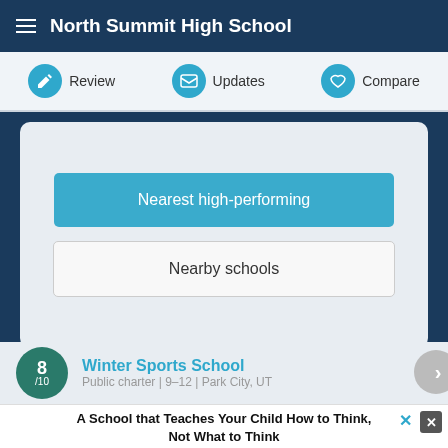North Summit High School
Review  Updates  Compare
Nearest high-performing
Nearby schools
8/10  Winter Sports School
Public charter | 9-12 | Park City, UT
A School that Teaches Your Child How to Think, Not What to Think
LEADERSHIP ACADEMY OF UTAH  Learn more
ADVERTISEMENT